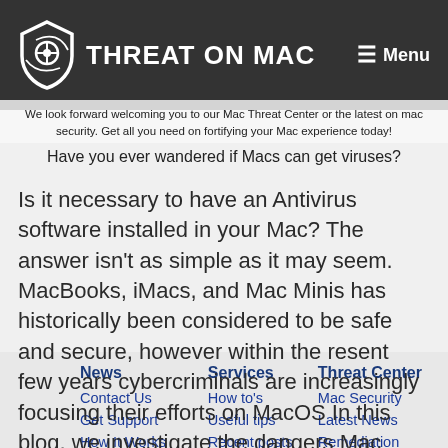THREAT ON MAC  Menu
We look forward welcoming you to our Mac Threat Center or the latest on mac security. Get all you need on fortifying your Mac experience today!
Have you ever wandered if Macs can get viruses?
Is it necessary to have an Antivirus software installed in your Mac? The answer isn't as simple as it may seem. MacBooks, iMacs, and Mac Minis has historically been considered to be safe and secure, however within the resent few years cybercriminals are increasingly focusing their efforts on MacOS In this blog, we investigate the dangers Mac users can face.
| News | Services | Threat Center |
| --- | --- | --- |
| Contact Us | How to's | Mac Security |
| Get Support | Useful tips | Latest News |
| How It Works | Recent posts | Remediation |
| T.O Privacy Policy... | App Review... |  |